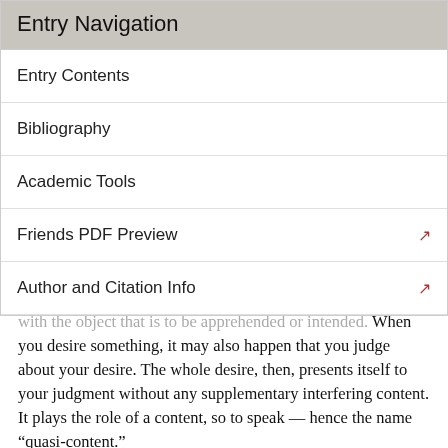Entry Navigation
Entry Contents
Bibliography
Academic Tools
Friends PDF Preview
Author and Citation Info
with the object that is to be apprehended or intended. When you desire something, it may also happen that you judge about your desire. The whole desire, then, presents itself to your judgment without any supplementary interfering content. It plays the role of a content, so to speak — hence the name “quasi-content.”
Meinong (1906, §§11 and 13; 1910, §43) thinks that we can do two different things with one and the same experience and content respectively: (1) If we direct our attention to our inner experience, for instance, to the red content of a representation of red, this very content serves